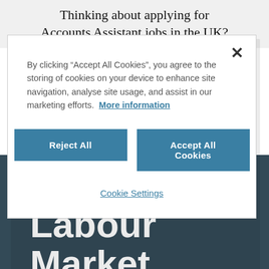Thinking about applying for Accounts Assistant jobs in the UK?
By clicking “Accept All Cookies”, you agree to the storing of cookies on your device to enhance site navigation, analyse site usage, and assist in our marketing efforts.  More information
Reject All
Accept All Cookies
Cookie Settings
ONS Labour Market